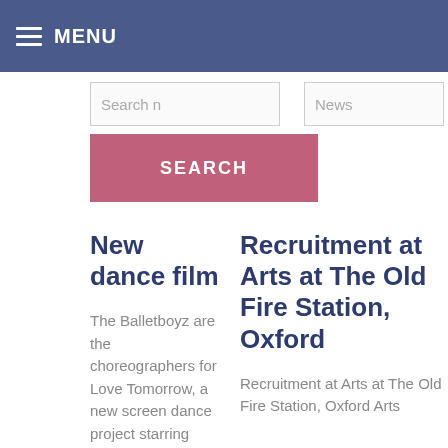MENU
Search n
News
SEARCH
New dance film
The Balletboyz are the choreographers for Love Tomorrow, a new screen dance project starring dancers Cindy
Recruitment at Arts at The Old Fire Station, Oxford
Recruitment at Arts at The Old Fire Station, Oxford Arts